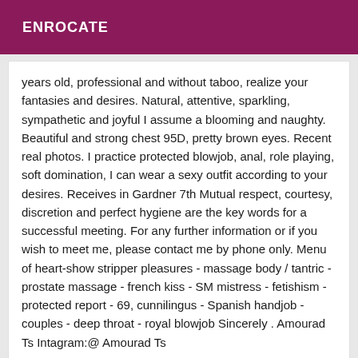ENROCATE
years old, professional and without taboo, realize your fantasies and desires. Natural, attentive, sparkling, sympathetic and joyful I assume a blooming and naughty. Beautiful and strong chest 95D, pretty brown eyes. Recent real photos. I practice protected blowjob, anal, role playing, soft domination, I can wear a sexy outfit according to your desires. Receives in Gardner 7th Mutual respect, courtesy, discretion and perfect hygiene are the key words for a successful meeting. For any further information or if you wish to meet me, please contact me by phone only. Menu of heart-show stripper pleasures - massage body / tantric - prostate massage - french kiss - SM mistress - fetishism - protected report - 69, cunnilingus - Spanish handjob - couples - deep throat - royal blowjob Sincerely . Amourad Ts Intagram:@ Amourad Ts